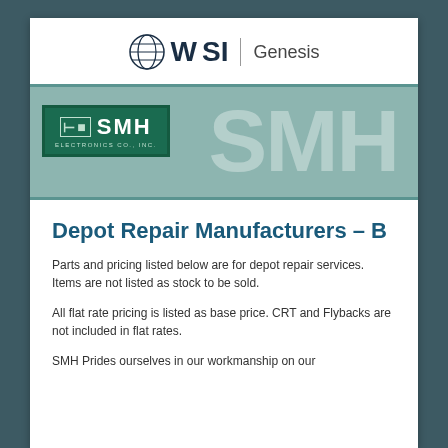[Figure (logo): WSI Genesis logo with globe icon, bold WSI text separated by vertical divider from 'Genesis' in lighter weight]
[Figure (logo): SMH Electronics Co., Inc. banner with teal background, SMH logo box in green on left, large watermark 'SMH' text on right]
Depot Repair Manufacturers – B
Parts and pricing listed below are for depot repair services. Items are not listed as stock to be sold.
All flat rate pricing is listed as base price. CRT and Flybacks are not included in flat rates.
SMH Prides ourselves in our workmanship on our